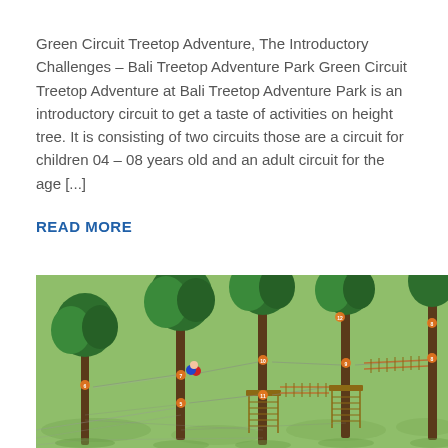Green Circuit Treetop Adventure, The Introductory Challenges – Bali Treetop Adventure Park Green Circuit Treetop Adventure at Bali Treetop Adventure Park is an introductory circuit to get a taste of activities on height tree. It is consisting of two circuits those are a circuit for children 04 – 08 years old and an adult circuit for the age [...]
READ MORE
[Figure (illustration): 3D rendered illustration of a treetop adventure park showing trees with rope courses, zip lines, and wooden platforms connected between the trees on a green grassy ground. An orange-numbered course route is visible through the trees.]